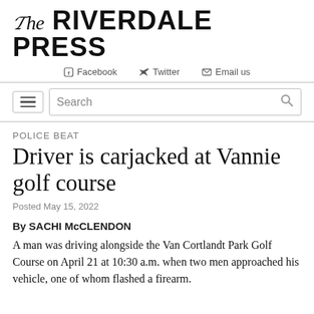The RIVERDALE PRESS
Facebook  Twitter  Email us
[Figure (other): Search bar with hamburger menu icon and search icon]
POLICE BEAT
Driver is carjacked at Vannie golf course
Posted May 15, 2022
By SACHI McCLENDON
A man was driving alongside the Van Cortlandt Park Golf Course on April 21 at 10:30 a.m. when two men approached his vehicle, one of whom flashed a firearm.